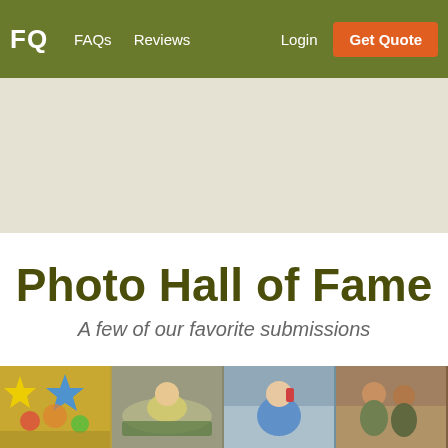FQ  FAQs  Reviews  Login  Get Quote
[Figure (other): Light beige/tan hero banner area below navigation]
Photo Hall of Fame
A few of our favorite submissions
[Figure (photo): Row of four photo thumbnails at the bottom: colorful balloons/decorations, person in yellow athletic wear lying down, person in blue top drinking, two children together]